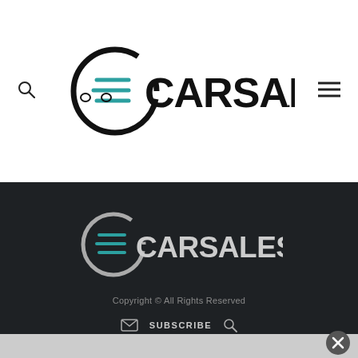[Figure (logo): CarsalesBase logo in header - circular C icon with teal lines and black CARSALESBASE. wordmark]
[Figure (logo): CarsalesBase logo in footer - circular C icon with grey/teal lines and white CARSALESBASE. wordmark on dark background]
Copyright © All Rights Reserved
SUBSCRIBE
ABOUT   CONTACT US   COOKIE POLICY   DISCLAIMER
PRIVACY POLICY